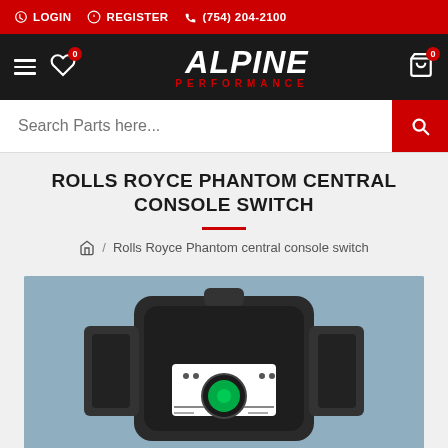LOGIN   REGISTER   (754) 204-2100
[Figure (logo): Alpine Performance logo on black navigation bar with hamburger menu, wishlist icon (badge 0), and cart icon (badge 0)]
Search Parts here...
ROLLS ROYCE PHANTOM CENTRAL CONSOLE SWITCH
Home / Rolls Royce Phantom central console switch
[Figure (photo): Rolls Royce Phantom central console switch component photographed against a blue-grey background. The part is a black plastic switch assembly with a green-lit rotary knob and white control panel markings.]